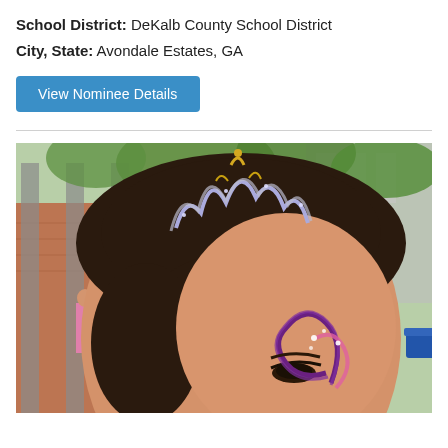School District: DeKalb County School District
City, State: Avondale Estates, GA
View Nominee Details
[Figure (photo): Close-up photo of a woman with dark hair wearing a decorative tiara/crown headband with gold and silver glitter, and colorful face paint (a swirling butterfly or floral design in pink and purple) on her cheek. Background shows an outdoor school setting with brick building, trees, and other people.]